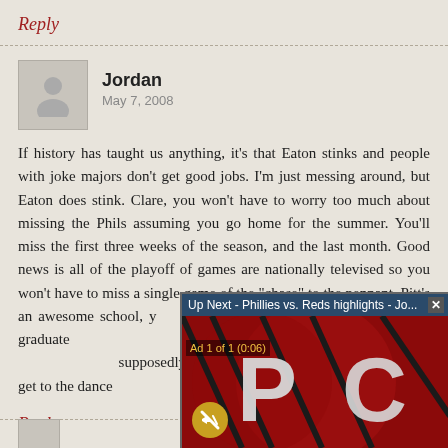Reply
Jordan
May 7, 2008
If history has taught us anything, it's that Eaton stinks and people with joke majors don't get good jobs. I'm just messing around, but Eaton does stink. Clare, you won't have to worry too much about missing the Phils assuming you go home for the summer. You'll miss the first three weeks of the season, and the last month. Good news is all of the playoff of games are nationally televised so you won't have to miss a single game of the "chase" to the pennant. Pitt's an awesome school, y... actually, the year I graduate... been since I came here in ... supposedly going to be #3 ... once they get to the dance...
Reply
[Figure (screenshot): Video popup overlay showing 'Up Next - Phillies vs. Reds highlights - Jo...' with a red background showing Philadelphia Phillies logo, a mute button, and an 'Ad 1 of 1 (0:06)' label]